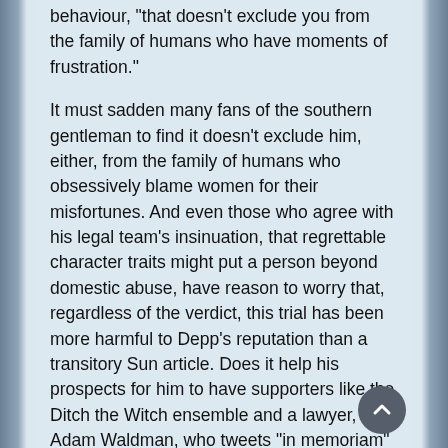behaviour, "that doesn't exclude you from the family of humans who have moments of frustration."
It must sadden many fans of the southern gentleman to find it doesn't exclude him, either, from the family of humans who obsessively blame women for their misfortunes. And even those who agree with his legal team's insinuation, that regrettable character traits might put a person beyond domestic abuse, have reason to worry that, regardless of the verdict, this trial has been more harmful to Depp's reputation than a transitory Sun article. Does it help his prospects for him to have supporters like the Ditch the Witch ensemble and a lawyer, Adam Waldman, who tweets "in memoriam" beside the names of witnesses who displease him? After Cherie Blair was named as a supporter of Heard, Waldman tweeted , with a logic worthy of Fathers4Justice: "As Iraq could tell you, if the Blairs are involved there couldn't possibly be a hoax at the center of it."
You do wonder if Waldman, with this sparky approach to a case about alleged domestic abuse, is aware that it is widely recognised as a serious crime, all the more so since new violence figures testify to horrifying